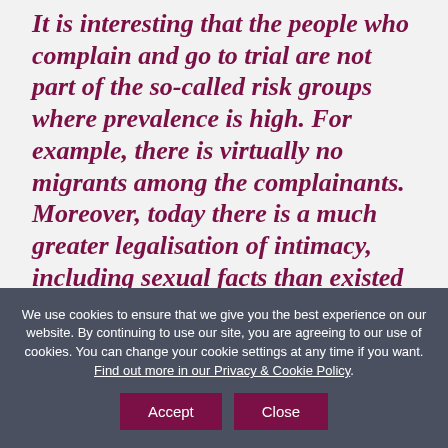It is interesting that the people who complain and go to trial are not part of the so-called risk groups where prevalence is high. For example, there is virtually no migrants among the complainants. Moreover, today there is a much greater legalisation of intimacy, including sexual facts than existed
We use cookies to ensure that we give you the best experience on our website. By continuing to use our site, you are agreeing to our use of cookies. You can change your cookie settings at any time if you want. Find out more in our Privacy & Cookie Policy.